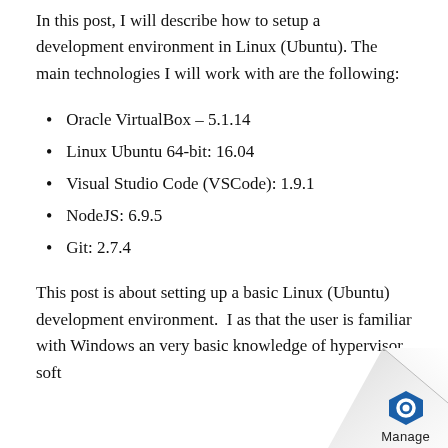In this post, I will describe how to setup a development environment in Linux (Ubuntu). The main technologies I will work with are the following:
Oracle VirtualBox – 5.1.14
Linux Ubuntu 64-bit: 16.04
Visual Studio Code (VSCode): 1.9.1
NodeJS: 6.9.5
Git: 2.7.4
This post is about setting up a basic Linux (Ubuntu) development environment.  I as that the user is familiar with Windows an very basic knowledge of hypervisor soft